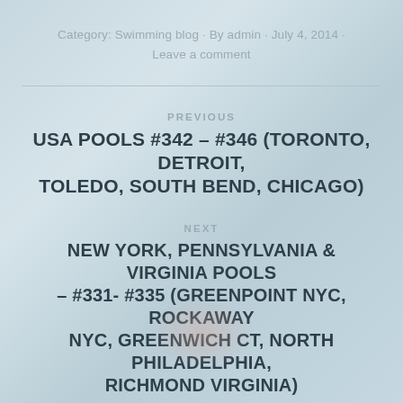Category: Swimming blog · By admin · July 4, 2014 · Leave a comment
PREVIOUS
USA POOLS #342 – #346 (TORONTO, DETROIT, TOLEDO, SOUTH BEND, CHICAGO)
NEXT
NEW YORK, PENNSYLVANIA & VIRGINIA POOLS – #331- #335 (GREENPOINT NYC, ROCKAWAY NYC, GREENWICH CT, NORTH PHILADELPHIA, RICHMOND VIRGINIA)